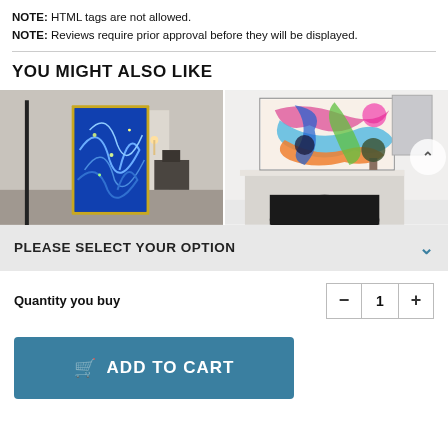NOTE: HTML tags are not allowed.
NOTE: Reviews require prior approval before they will be displayed.
YOU MIGHT ALSO LIKE
[Figure (photo): Abstract painting with blue tones hung in a modern interior hallway]
[Figure (photo): Colorful abstract painting hung above a fireplace in an elegant white interior]
PLEASE SELECT YOUR OPTION
Quantity you buy
ADD TO CART